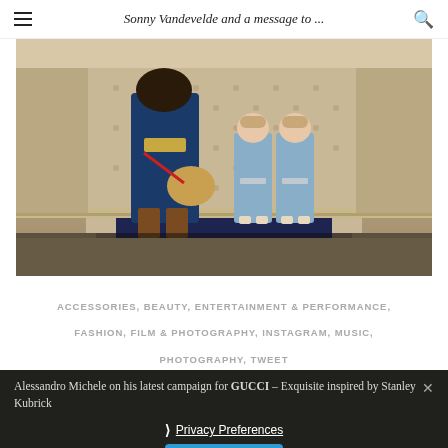Sonny Vandevelde and a message to ...
[Figure (photo): Fashion photo in a hotel corridor reminiscent of The Shining: a woman in a blue Gucci outfit with a large belt buckle and brown boots, carrying a fur bag, stands with two young girls in matching blue dresses in a patterned wallpaper hallway with a blue carpet runner.]
ACCESSORIES, BEAUTY, ENTERTAINMENT & PERFORMANCE, FASHION, FILM & PHOTOGRAPHY, INSTAGRAM, MUSIC, PHOTOGRAPHY, TWEET
Alessandro Michele on his latest campaign for GUCCI – Exquisite inspired by Stanley Kubrick
❯ Privacy Preferences
I Agree